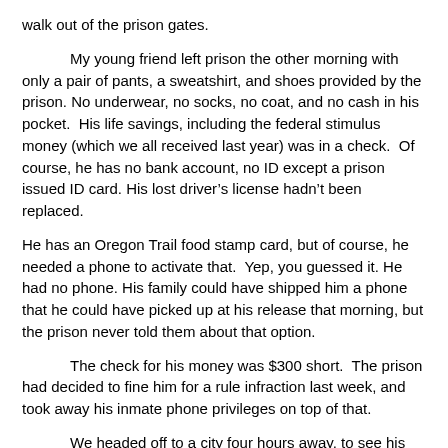walk out of the prison gates.
My young friend left prison the other morning with only a pair of pants, a sweatshirt, and shoes provided by the prison. No underwear, no socks, no coat, and no cash in his pocket.  His life savings, including the federal stimulus money (which we all received last year) was in a check.  Of course, he has no bank account, no ID except a prison issued ID card. His lost driver’s license hadn’t been replaced.
He has an Oregon Trail food stamp card, but of course, he needed a phone to activate that.  Yep, you guessed it. He had no phone. His family could have shipped him a phone that he could have picked up at his release that morning, but the prison never told them about that option.
The check for his money was $300 short.  The prison had decided to fine him for a rule infraction last week, and took away his inmate phone privileges on top of that.
We headed off to a city four hours away, to see his